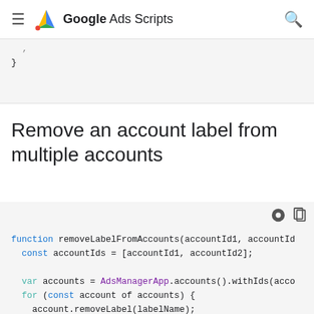Google Ads Scripts
}
Remove an account label from multiple accounts
function removeLabelFromAccounts(accountId1, accountId...
  const accountIds = [accountId1, accountId2];

  var accounts = AdsManagerApp.accounts().withIds(acco...
  for (const account of accounts) {
    account.removeLabel(labelName);

    console.log('Label with text = "%s" removed from c...
      labelName, account.getCustomerId());